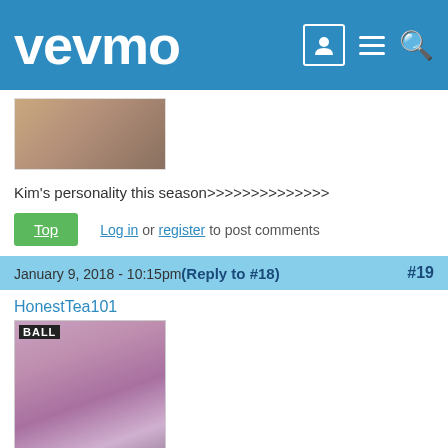vevmo
[Figure (photo): Partial photo visible at top of comment, tan/brown tones]
Kim's personality this season>>>>>>>>>>>>>>
Top  Log in or register to post comments
January 9, 2018 - 10:15pm (Reply to #18)  #19
HonestTea101
[Figure (photo): Photo of a young woman sitting against a colorful wall, wearing white shorts, sneakers; sign reading BALL in background]
Kim's personality this season>>>>>>>>>>>>>>>